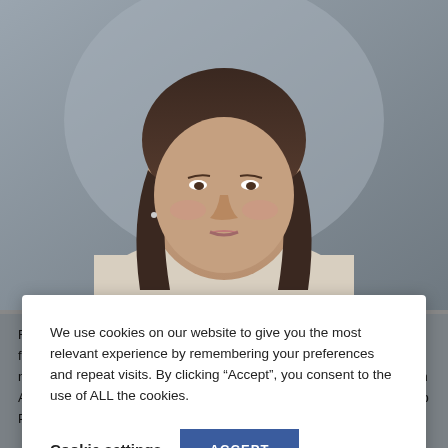[Figure (photo): Portrait photo of Rita Balice-Gordon, a woman with dark shoulder-length hair wearing a light-colored top, against a blurred background.]
We use cookies on our website to give you the most relevant experience by remembering your preferences and repeat visits. By clicking “Accept”, you consent to the use of ALL the cookies.
Cookie settings
ACCEPT
Rita Balice-Gordon, Ph.D., is the CEO of Muna Therapeutics, a newly formed Neurology focused biotech company working on developing novel therapeutics for neurodegenerative diseases. She is working with Anders Hinsby, Jakob Busch-Petersen, Joachim Vilstrup, Simon Glerup Pedersen and the team at Novo Ventures to transform cutting-edge